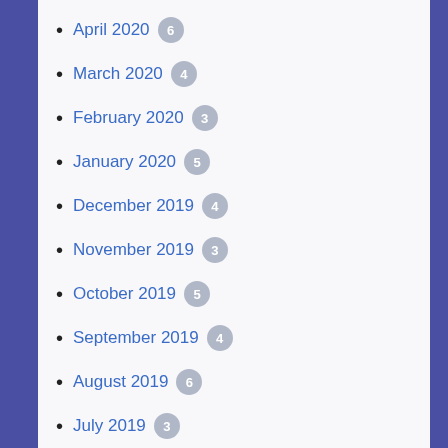April 2020 6
March 2020 4
February 2020 3
January 2020 5
December 2019 4
November 2019 3
October 2019 5
September 2019 4
August 2019 6
July 2019 3
June 2019 4